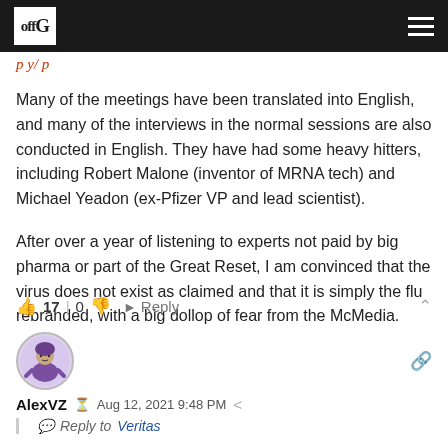offG [navigation bar with logo and hamburger menu]
[partial link text - truncated]
Many of the meetings have been translated into English, and many of the interviews in the normal sessions are also conducted in English. They have had some heavy hitters, including Robert Malone (inventor of MRNA tech) and Michael Yeadon (ex-Pfizer VP and lead scientist).
After over a year of listening to experts not paid by big pharma or part of the Great Reset, I am convinced that the virus does not exist as claimed and that it is simply the flu rebranded, with a big dollop of fear from the McMedia.
👍 17 | 0 👎 ➤ Reply ∧
[Figure (illustration): User avatar - cartoon character in purple robe]
AlexVZ  Aug 12, 2021 9:48 PM
Reply to Veritas